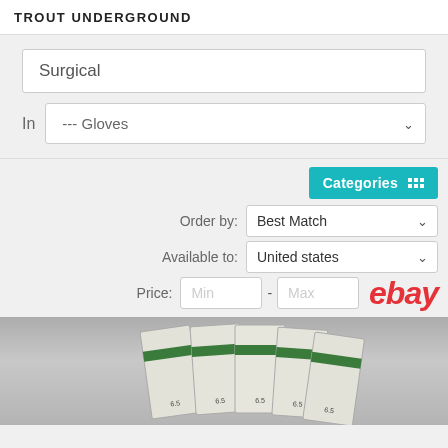TROUT UNDERGROUND
Surgical
In --- Gloves
Categories
Order by: Best Match
Available to: United states
Price: Min - Max
[Figure (photo): Product image showing packaged surgical gloves with green stripe on packaging, arranged in a fan/group pattern on a grey background]